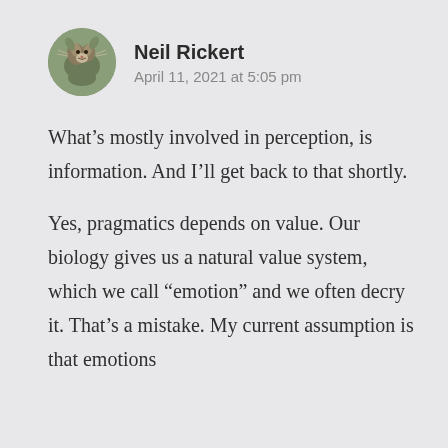[Figure (photo): Circular avatar photo of a squirrel on a branch, used as profile picture for Neil Rickert]
Neil Rickert
April 11, 2021 at 5:05 pm
What’s mostly involved in perception, is information. And I’ll get back to that shortly.
Yes, pragmatics depends on value. Our biology gives us a natural value system, which we call “emotion” and we often decry it. That’s a mistake. My current assumption is that emotions